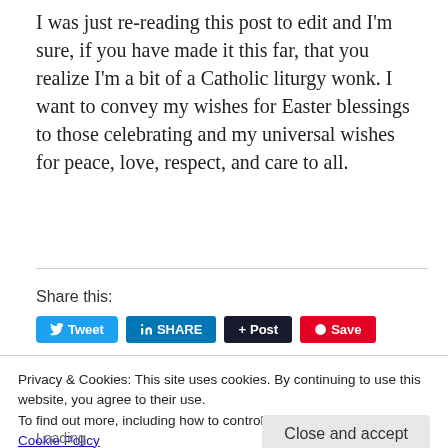I was just re-reading this post to edit and I'm sure, if you have made it this far, that you realize I'm a bit of a Catholic liturgy wonk. I want to convey my wishes for Easter blessings to those celebrating and my universal wishes for peace, love, respect, and care to all.
Share this:
[Figure (screenshot): Social share buttons: Tweet (blue), SHARE (LinkedIn blue), + Post (dark), Save (red/Pinterest)]
Privacy & Cookies: This site uses cookies. By continuing to use this website, you agree to their use.
To find out more, including how to control cookies, see here:
Cookie Policy
Close and accept
Loading